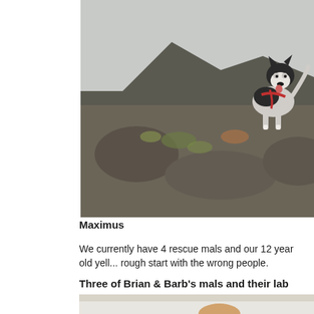[Figure (photo): A husky dog with a red harness standing on rocky terrain with misty mountains in the background]
Maximus
We currently have 4 rescue mals and our 12 year old yell... rough start with the wrong people.
Three of Brian & Barb's mals and their lab
[Figure (photo): Dogs in a snowy scene, partially visible at bottom of page]